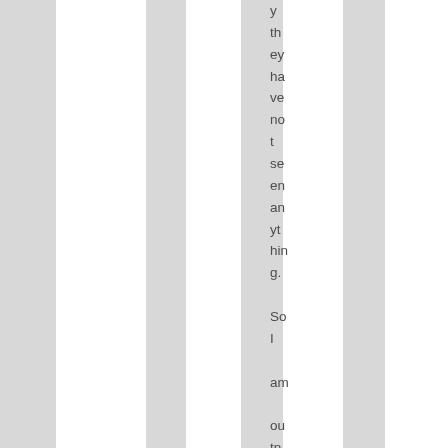y they have not seen anything. So I am outnumbered